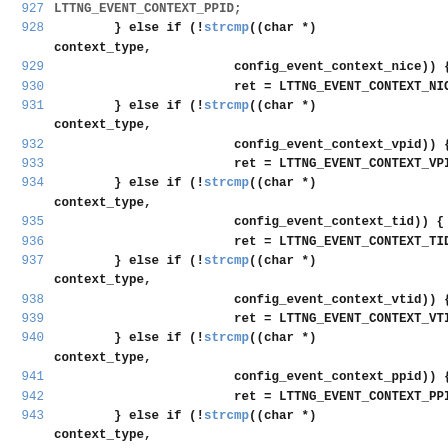Source code listing, lines 927-945, showing C if-else chain with strcmp calls for context type comparison.